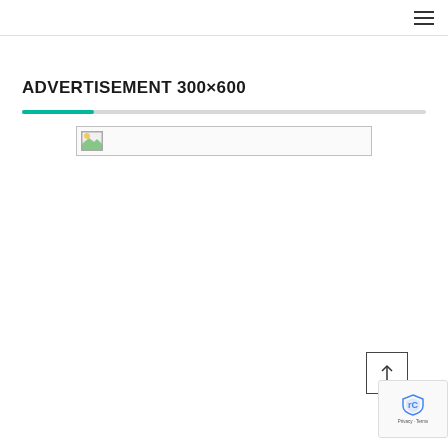≡
ADVERTISEMENT 300×600
[Figure (other): Progress bar with teal fill on left portion and grey remainder, followed by a broken image placeholder in a bordered rectangle]
[Figure (other): Back to top arrow button - square with upward arrow icon]
[Figure (other): reCAPTCHA badge with shield icon and Privacy - Terms text]